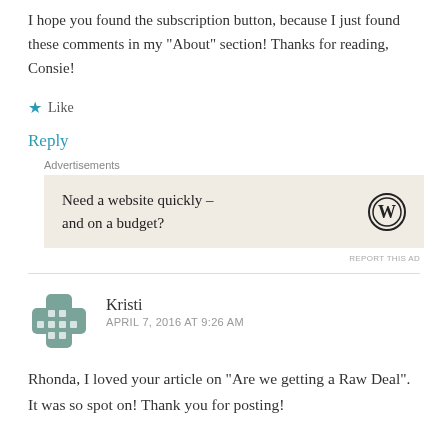I hope you found the subscription button, because I just found these comments in my “About” section! Thanks for reading, Consie!
★ Like
Reply
Advertisements
Need a website quickly – and on a budget?
REPORT THIS AD
Kristi
APRIL 7, 2016 AT 9:26 AM
Rhonda, I loved your article on “Are we getting a Raw Deal”. It was so spot on! Thank you for posting!